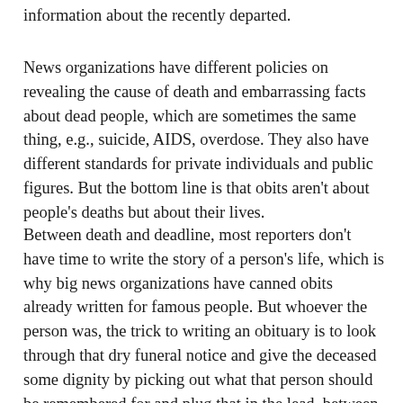information about the recently departed.
News organizations have different policies on revealing the cause of death and embarrassing facts about dead people, which are sometimes the same thing, e.g., suicide, AIDS, overdose. They also have different standards for private individuals and public figures. But the bottom line is that obits aren't about people's deaths but about their lives.
Between death and deadline, most reporters don't have time to write the story of a person's life, which is why big news organizations have canned obits already written for famous people. But whoever the person was, the trick to writing an obituary is to look through that dry funeral notice and give the deceased some dignity by picking out what that person should be remembered for and plug that in the lead, between the person's name and date of death, i.e., "Betty Boop, devoted mother and grandmother of 12 children and 27 grandchildren, died today at age 97," or, "Elmer Fudd, who